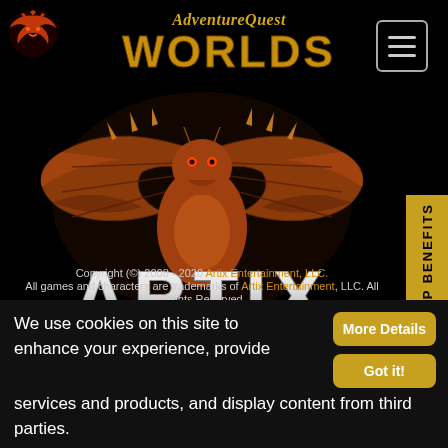[Figure (logo): Small red dragon/bat wing logo, top left corner]
[Figure (logo): AdventureQuest WORLDS logo in gold/yellow stylized text, center top]
[Figure (illustration): Hamburger menu icon (three horizontal lines) in gray rounded rectangle, top right]
[Figure (illustration): Large brown/orange dragon with spread wings centered on black background, with bold silver/white text ARTIX below]
[Figure (other): Vertical gold sidebar on right edge reading MEMBERSHIP BENEFITS]
Copyright (c) 2008 - 2020 Artix Entertainment, LLC. All games and characters are trademarks of Artix Entertainment, LLC. All Rights Reserved
We use cookies on this site to enhance your experience, provide services and products, and display content from third parties. Cookie Policy.